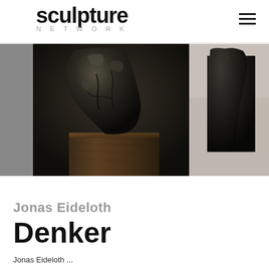sculpture NETWORK
[Figure (photo): Close-up photograph of a dark bronze abstract sculpture of a head/figure on a wooden base, with a partial second sculpture visible on the right edge]
Jonas Eideloth
Denker
Jonas Eideloth ...